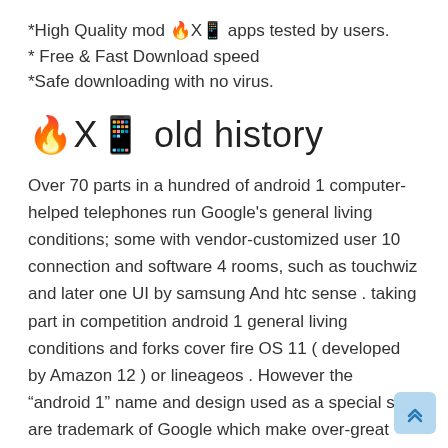*High Quality mod 🔥X📱 apps tested by users.
* Free & Fast Download speed
*Safe downloading with no virus.
🔥X📱 old history
Over 70 parts in a hundred of android 1 computer-helped telephones run Google's general living conditions; some with vendor-customized user 10 connection and software 4 rooms, such as touchwiz and later one UI by samsung And htc sense . taking part in competition android 1 general living conditions and forks cover fire OS 11 ( developed by Amazon 12 ) or lineageos . However the "android 1" name and design used as a special sign are trademark of Google which make over-great use of standards to keep inside limits "uncertified" apparatuses outside their general living conditions to use android 1 trademarking .The